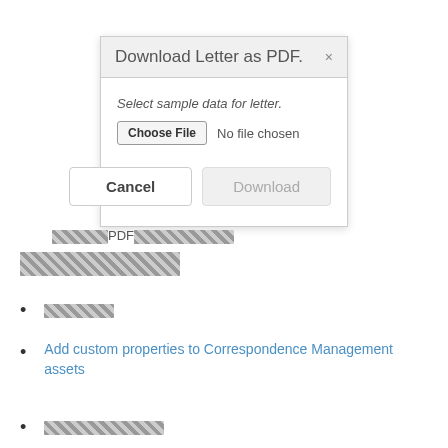[Figure (screenshot): Modal dialog box titled 'Download Letter as PDF.' with a file chooser input showing 'No file chosen', and Cancel and Download buttons at the bottom.]
[redacted]PDF[redacted]
[redacted]
[redacted link]
Add custom properties to Correspondence Management assets
[redacted link]